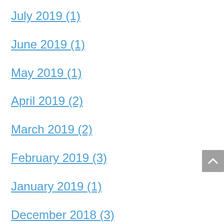July 2019 (1)
June 2019 (1)
May 2019 (1)
April 2019 (2)
March 2019 (2)
February 2019 (3)
January 2019 (1)
December 2018 (3)
November 2018 (3)
October 2018 (2)
August 2018 (1)